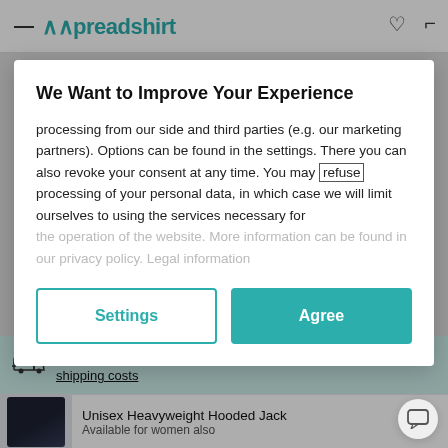[Figure (screenshot): Spreadshirt website navigation bar with hamburger menu, logo, heart/wishlist and cart icons]
We Want to Improve Your Experience
processing from our side and third parties (e.g. our marketing partners). Options can be found in the settings. There you can also revoke your consent at any time. You may refuse processing of your personal data, in which case we will limit ourselves to using the services necessary for the operation of the website. More information can be found in our privacy policy. Legal information
Settings
Agree
Want your product ASAP? Calculate here delivery time and shipping costs
Unisex Heavyweight Hooded Jack
Available for women also